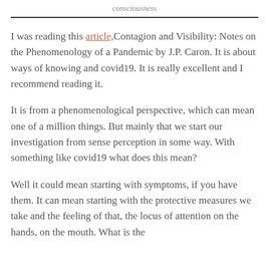consciousness
I was reading this article,Contagion and Visibility: Notes on the Phenomenology of a Pandemic by J.P. Caron. It is about ways of knowing and covid19. It is really excellent and I recommend reading it.
It is from a phenomenological perspective, which can mean one of a million things. But mainly that we start our investigation from sense perception in some way. With something like covid19 what does this mean?
Well it could mean starting with symptoms, if you have them. It can mean starting with the protective measures we take and the feeling of that, the locus of attention on the hands, on the mouth.  What is the